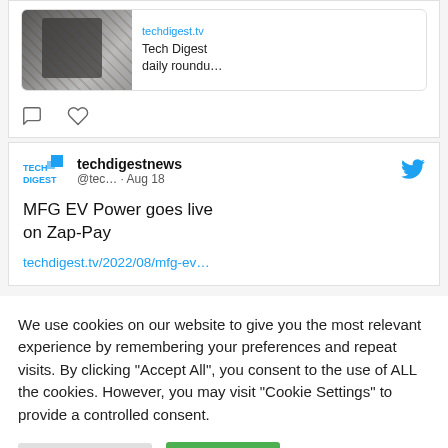[Figure (screenshot): Link preview card showing a Tech Digest article with a photo of people in a store, domain label techdigest.tv, and title 'Tech Digest daily roundu...']
[Figure (screenshot): Twitter action icons: comment bubble and heart/like icon]
[Figure (screenshot): Tweet from techdigestnews (@tec... · Aug 18) with Twitter bird logo and Tech Digest logo. Tweet text: 'MFG EV Power goes live on Zap-Pay' with link techdigest.tv/2022/08/mfg-ev...]
We use cookies on our website to give you the most relevant experience by remembering your preferences and repeat visits. By clicking "Accept All", you consent to the use of ALL the cookies. However, you may visit "Cookie Settings" to provide a controlled consent.
Cookie Settings
Accept All